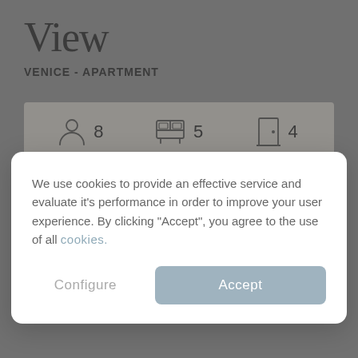View
VENICE - APARTMENT
[Figure (infographic): Icon row showing: person icon with number 8, bed/room icon with number 5, door icon with number 4]
We use cookies to provide an effective service and evaluate it's performance in order to improve your user experience. By clicking "Accept", you agree to the use of all cookies.
Configure
Accept